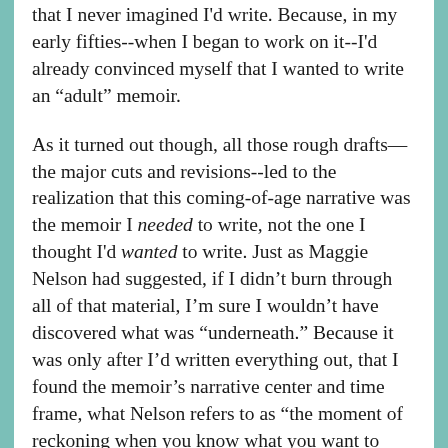that I never imagined I'd write. Because, in my early fifties--when I began to work on it--I'd already convinced myself that I wanted to write an “adult” memoir.
As it turned out though, all those rough drafts—the major cuts and revisions--led to the realization that this coming-of-age narrative was the memoir I needed to write, not the one I thought I'd wanted to write. Just as Maggie Nelson had suggested, if I didn’t burn through all of that material, I’m sure I wouldn’t have discovered what was “underneath.” Because it was only after I’d written everything out, that I found the memoir’s narrative center and time frame, what Nelson refers to as “the moment of reckoning when you know what you want to do.”